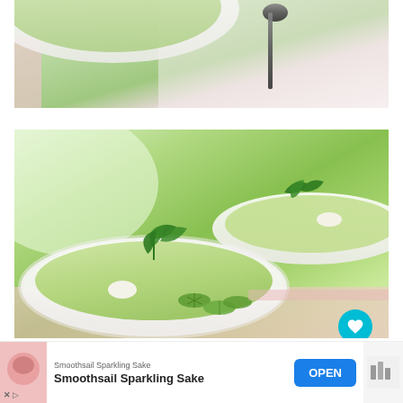[Figure (photo): Top portion of a bowl of green cucumber soup with a spoon, viewed from above on a pink and white background]
[Figure (photo): Two white bowls of chilled green cucumber soup garnished with fresh mint leaves, cucumber slices, and cream/yogurt, on a pink background. UI overlays include a teal heart button, 1.1K count, share button, and 'What's Next: Chilly Watermelon...' banner]
WHAT'S NEXT → Chilly Watermelon...
Smoothsail Sparkling Sake
Smoothsail Sparkling Sake
OPEN